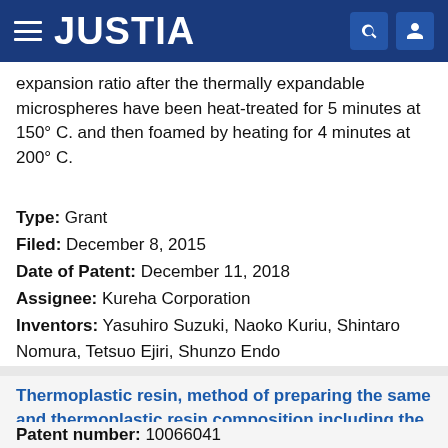JUSTIA
expansion ratio after the thermally expandable microspheres have been heat-treated for 5 minutes at 150° C. and then foamed by heating for 4 minutes at 200° C.
Type: Grant
Filed: December 8, 2015
Date of Patent: December 11, 2018
Assignee: Kureha Corporation
Inventors: Yasuhiro Suzuki, Naoko Kuriu, Shintaro Nomura, Tetsuo Ejiri, Shunzo Endo
Thermoplastic resin, method of preparing the same and thermoplastic resin composition including the same
Patent number: 10066041
Abstract: The present invention relates to a thermoplastic resin, a method of preparing the same, and a thermoplastic resin composition including the